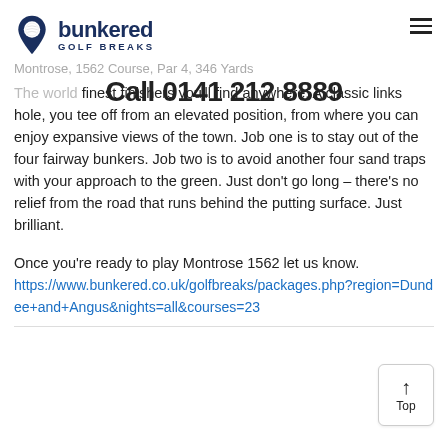bunkered GOLF BREAKS
Montrose, 1562 Course, Par 4, 346 Yards
Call 0141 212 8889
The world's oldest golf club, home to one of the finest finishers you'll find anywhere. A classic links hole, you tee off from an elevated position, from where you can enjoy expansive views of the town. Job one is to stay out of the four fairway bunkers. Job two is to avoid another four sand traps with your approach to the green. Just don't go long – there's no relief from the road that runs behind the putting surface. Just brilliant.
Once you're ready to play Montrose 1562 let us know.
https://www.bunkered.co.uk/golfbreaks/packages.php?region=Dundee+and+Angus&nights=all&courses=23